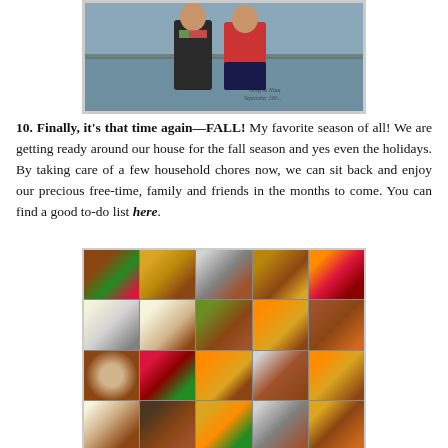[Figure (photo): Photo of two people standing together outdoors near water, with a handwritten caption reading 'Greg & Nina, September 199...' in the bottom right corner.]
10. Finally, it's that time again—FALL! My favorite season of all! We are getting ready around our house for the fall season and yes even the holidays. By taking care of a few household chores now, we can sit back and enjoy our precious free-time, family and friends in the months to come. You can find a good to-do list here.
[Figure (photo): A 5x4 collage of fall-themed photos including autumn foliage landscapes, soup, decorative gourds and pumpkins, floral arrangements, wreaths, candles, and cozy indoor scenes.]